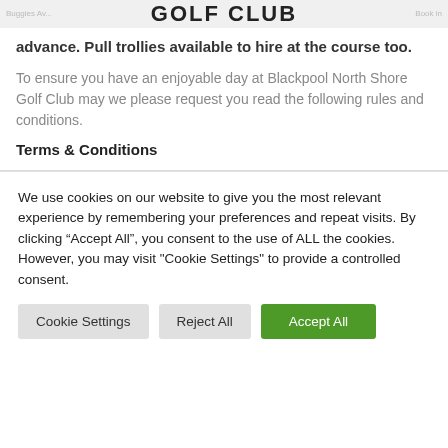GOLF CLUB
Buggies Av... Book in advance. Pull trollies available to hire at the course too.
To ensure you have an enjoyable day at Blackpool North Shore Golf Club may we please request you read the following rules and conditions.
Terms & Conditions
We use cookies on our website to give you the most relevant experience by remembering your preferences and repeat visits. By clicking "Accept All", you consent to the use of ALL the cookies. However, you may visit "Cookie Settings" to provide a controlled consent.